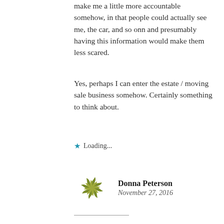make me a little more accountable somehow, in that people could actually see me, the car, and so onn and presumably having this information would make them less scared.
Yes, perhaps I can enter the estate / moving sale business somehow. Certainly something to think about.
Loading...
Donna Peterson
November 27, 2016